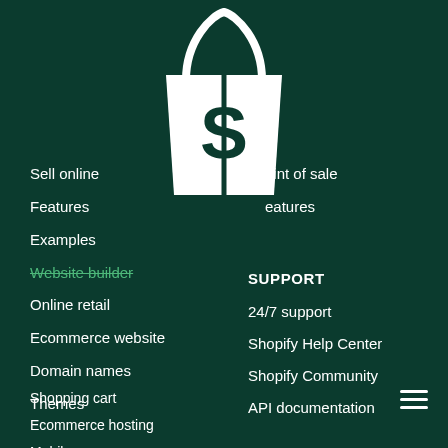[Figure (logo): Shopify white shopping bag logo with 'S' on dark green background]
Sell online
Point of sale
Features
Features
Examples
Website builder
Online retail
SUPPORT
Ecommerce website
24/7 support
Domain names
Shopify Help Center
Themes
Shopify Community
Shopping cart
API documentation
Ecommerce hosting
Free tools
Mobile commerce
Free stock photos
Ecommerce software
Websites for sale
Logo Maker